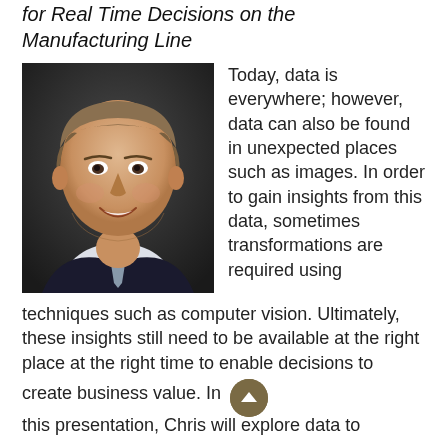for Real Time Decisions on the Manufacturing Line
[Figure (photo): Headshot photo of a man in a dark suit and striped tie, smiling, with short hair]
Today, data is everywhere; however, data can also be found in unexpected places such as images. In order to gain insights from this data, sometimes transformations are required using techniques such as computer vision. Ultimately, these insights still need to be available at the right place at the right time to enable decisions to create business value. In this presentation, Chris will explore data to